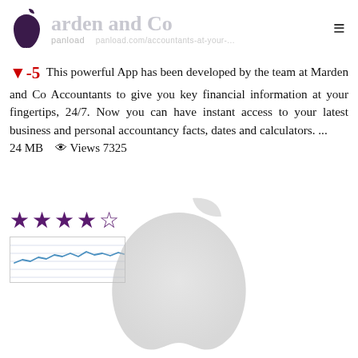Marden and Co | panload
▼-5  This powerful App has been developed by the team at Marden and Co Accountants to give you key financial information at your fingertips, 24/7. Now you can have instant access to your latest business and personal accountancy facts, dates and calculators. ... 24 MB   👁 Views 7325
[Figure (other): Four and a half star rating shown as filled and half-filled purple stars]
[Figure (line-chart): Small sparkline chart showing a fluctuating line trend over time on a ruled background]
[Figure (logo): Large light grey Apple logo watermark in the lower portion of the page]